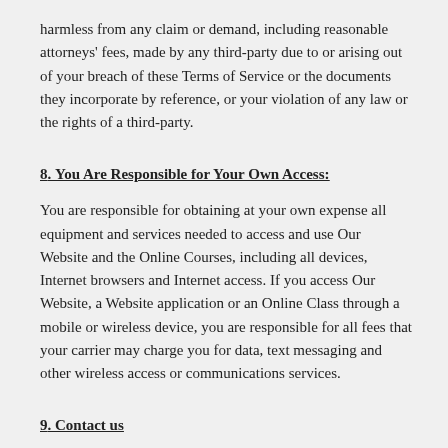harmless from any claim or demand, including reasonable attorneys' fees, made by any third-party due to or arising out of your breach of these Terms of Service or the documents they incorporate by reference, or your violation of any law or the rights of a third-party.
8. You Are Responsible for Your Own Access:
You are responsible for obtaining at your own expense all equipment and services needed to access and use Our Website and the Online Courses, including all devices, Internet browsers and Internet access. If you access Our Website, a Website application or an Online Class through a mobile or wireless device, you are responsible for all fees that your carrier may charge you for data, text messaging and other wireless access or communications services.
9. Contact us
For more information about our T&Cs, or if you have any questions, please contact us.